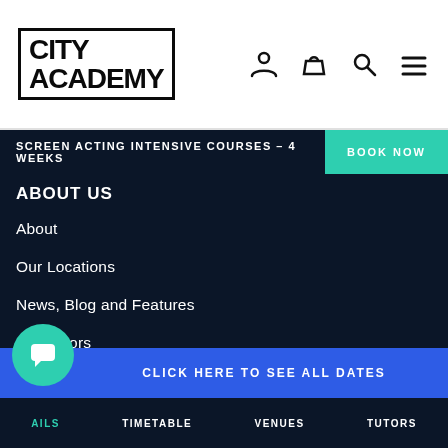[Figure (logo): City Academy logo with bold outlined text]
SCREEN ACTING INTENSIVE COURSES – 4 WEEKS
ABOUT US
About
Our Locations
News, Blog and Features
Our Tutors
Our Health & Safety Policy
Our Covid Policy
Frequently Asked Questions
CLICK HERE TO SEE ALL DATES
AILS   TIMETABLE   VENUES   TUTORS